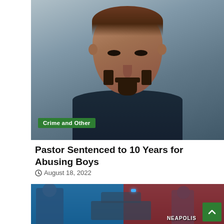[Figure (photo): Mugshot-style photo of a man with dark beard and goatee, wearing a dark blue shirt, against a teal/grey background. A green badge reading 'Crime and Other' is overlaid in the lower left.]
Pastor Sentenced to 10 Years for Abusing Boys
August 18, 2022
[Figure (photo): Split-tone news photo showing police scene. Left side tinted blue showing a person and vehicles, right side tinted red showing officers near a car with 'NEAPOLIS' text visible. A green scroll-to-top button is in the bottom right corner.]